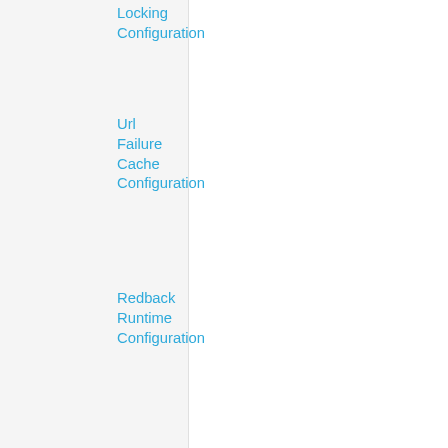Locking Configuration
Url Failure Cache Configuration
Redback Runtime Configuration
REST Apis
Configuration Files
System Status
Log Files
Reports
CUSTOMISING